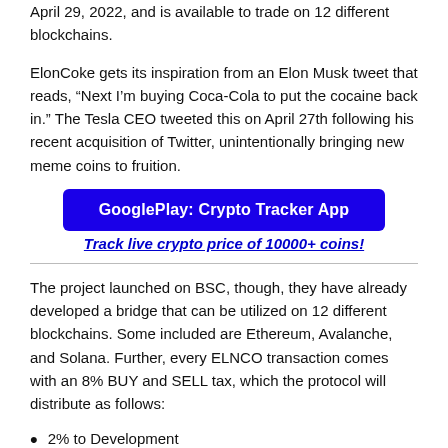April 29, 2022, and is available to trade on 12 different blockchains.
ElonCoke gets its inspiration from an Elon Musk tweet that reads, “Next I’m buying Coca-Cola to put the cocaine back in.” The Tesla CEO tweeted this on April 27th following his recent acquisition of Twitter, unintentionally bringing new meme coins to fruition.
[Figure (other): GooglePlay: Crypto Tracker App button (dark blue)]
Track live crypto price of 10000+ coins!
The project launched on BSC, though, they have already developed a bridge that can be utilized on 12 different blockchains. Some included are Ethereum, Avalanche, and Solana. Further, every ELNCO transaction comes with an 8% BUY and SELL tax, which the protocol will distribute as follows:
2% to Development